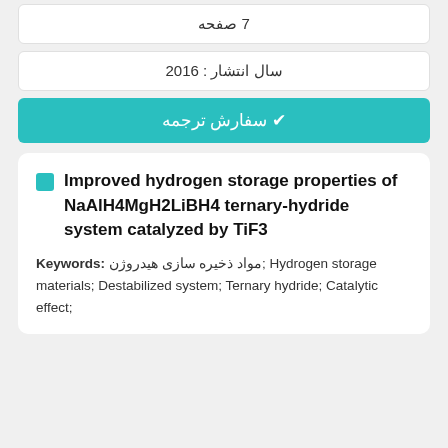7 صفحه
سال انتشار : 2016
✔ سفارش ترجمه
Improved hydrogen storage properties of NaAlH4MgH2LiBH4 ternary-hydride system catalyzed by TiF3
Keywords: مواد ذخیره سازی هیدروژن; Hydrogen storage materials; Destabilized system; Ternary hydride; Catalytic effect;